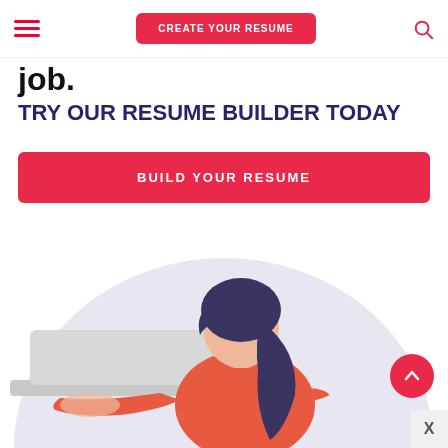CREATE YOUR RESUME
job.
TRY OUR RESUME BUILDER TODAY
BUILD YOUR RESUME
[Figure (illustration): Illustration of a woman with dark hair wearing a red top, sitting and working on a laptop. Background features a large light purple semicircle.]